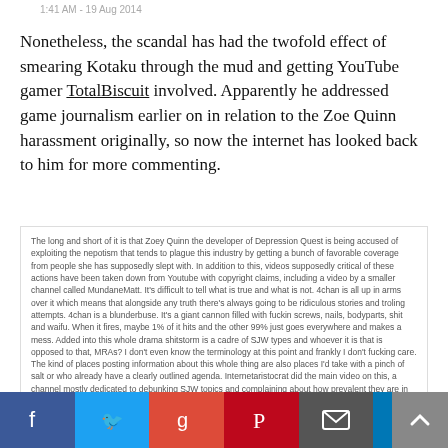1:41 AM - 19 Aug 2014
Nonetheless, the scandal has had the twofold effect of smearing Kotaku through the mud and getting YouTube gamer TotalBiscuit involved. Apparently he addressed game journalism earlier on in relation to the Zoe Quinn harassment originally, so now the internet has looked back to him for more commenting.
The long and short of it is that Zoey Quinn the developer of Depression Quest is being accused of exploiting the nepotism that tends to plague this industry by getting a bunch of favorable coverage from people she has supposedly slept with. In addition to this, videos supposedly critical of these actions have been taken down from Youtube with copyright claims, including a video by a smaller channel called MundaneMatt. It's difficult to tell what is true and what is not. 4chan is all up in arms over it which means that alongside any truth there's always going to be ridiculous stories and troling attempts. 4chan is a blunderbuse. It's a giant cannon filled with fuckin screws, nails, bodyparts, shit and waifu. When it fires, maybe 1% of it hits and the other 99% just goes everywhere and makes a mess. Added into this whole drama shitstorm is a cadre of SJW types and whoever it is that is opposed to that, MRAs? I don't even know the terminology at this point and frankly I don't fucking care. The kind of places posting information about this whole thing are also places I'd take with a pinch of salt or who already have a clearly outlined agenda. Internetaristocrat did the main video on this, a channel mostly dedicated to debunking SJW topics and complaining about how prevalent they are in todays media. A fair cause for the most part, though it's a fine line to walk at the best of times. Honestly that whole debate is something I try and stay the hell away from because the people involved in it are fucking terrifying.
His blog post on Twitlonger additionally slams Quinn for allegedly invoking copyright law to get a video by low level YouTuber MundaneMatt blocked (if, in fact, it was her, he admits, who did it) and especially 4chan, whom it seems is having a field day with all this — going as far as using an Eminem song to parody the scandal.